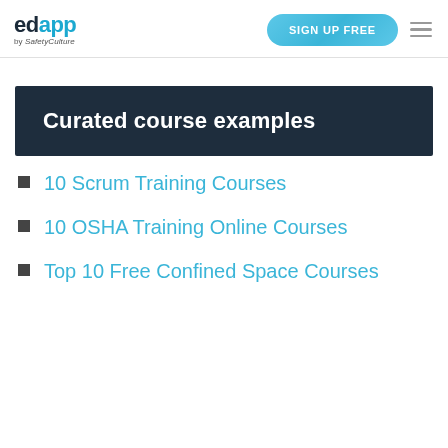edapp by SafetyCulture | SIGN UP FREE
Curated course examples
10 Scrum Training Courses
10 OSHA Training Online Courses
Top 10 Free Confined Space Courses